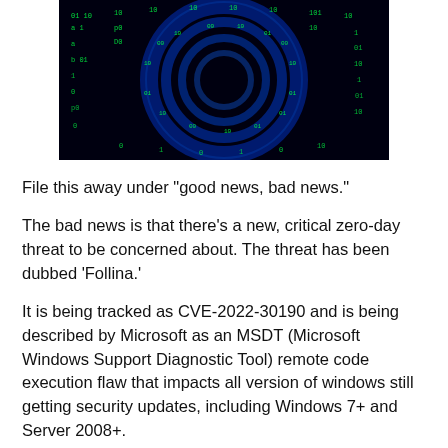[Figure (photo): Dark cybersecurity themed image showing glowing green binary code and digital circular patterns on a black/blue background.]
File this away under "good news, bad news."
The bad news is that there's a new, critical zero-day threat to be concerned about. The threat has been dubbed 'Follina.'
It is being tracked as CVE-2022-30190 and is being described by Microsoft as an MSDT (Microsoft Windows Support Diagnostic Tool) remote code execution flaw that impacts all version of windows still getting security updates, including Windows 7+ and Server 2008+.
It's a serious bug that puts your system at risk. Even worse is that Microsoft doesn't currently have a patch to fix it. Although they have issued a bulletin outlining some mitigation steps you can take to help minimize your risk